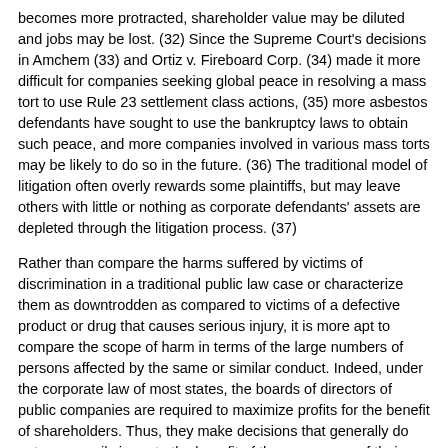becomes more protracted, shareholder value may be diluted and jobs may be lost. (32) Since the Supreme Court's decisions in Amchem (33) and Ortiz v. Fireboard Corp. (34) made it more difficult for companies seeking global peace in resolving a mass tort to use Rule 23 settlement class actions, (35) more asbestos defendants have sought to use the bankruptcy laws to obtain such peace, and more companies involved in various mass torts may be likely to do so in the future. (36) The traditional model of litigation often overly rewards some plaintiffs, but may leave others with little or nothing as corporate defendants' assets are depleted through the litigation process. (37)
Rather than compare the harms suffered by victims of discrimination in a traditional public law case or characterize them as downtrodden as compared to victims of a defective product or drug that causes serious injury, it is more apt to compare the scope of harm in terms of the large numbers of persons affected by the same or similar conduct. Indeed, under the corporate law of most states, the boards of directors of public companies are required to maximize profits for the benefit of shareholders. Thus, they make decisions that generally do not necessarily inure to the benefit of the consumers of their products. The result can be a mass tort such as those we have seen and see now in the case of the painkiller Vioxx. Just as traditional public law cases are seen as a deterrent to governmental abuses, mass tort cases raise a similar need to constrain the single-minded approach to profit maximization. (38) In that sense, mass tort litigation unquestionably takes on the attributes of traditional public law litigation. All such litigation is complex litigation and, as such, invites nontraditional methods of resolution. (39)
Indeed, over the last twenty years, judges aggressively have used numerous procedural devices to steer mass tort cases to resolution